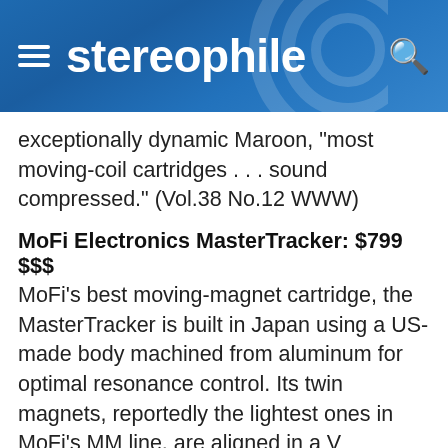stereophile
exceptionally dynamic Maroon, "most moving-coil cartridges . . . sound compressed." (Vol.38 No.12 WWW)
MoFi Electronics MasterTracker: $799 $$$
MoFi's best moving-magnet cartridge, the MasterTracker is built in Japan using a US-made body machined from aluminum for optimal resonance control. Its twin magnets, reportedly the lightest ones in MoFi's MM line, are aligned in a V formation parallel to the walls of a stereo groove, and its tapered aluminum cantilever is fitted with a Micro-line stylus. Pertinent specs include an output of 3.0mV and a downforce range of 1.82.2gm. After